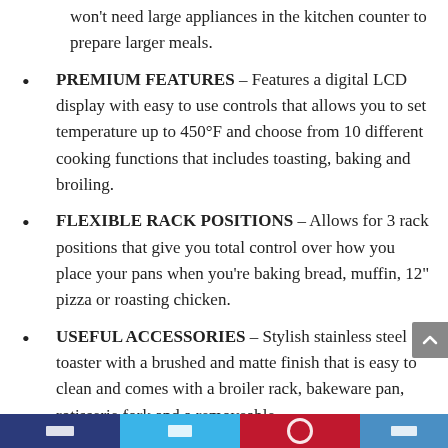won't need large appliances in the kitchen counter to prepare larger meals.
PREMIUM FEATURES – Features a digital LCD display with easy to use controls that allows you to set temperature up to 450°F and choose from 10 different cooking functions that includes toasting, baking and broiling.
FLEXIBLE RACK POSITIONS – Allows for 3 rack positions that give you total control over how you place your pans when you're baking bread, muffin, 12" pizza or roasting chicken.
USEFUL ACCESSORIES – Stylish stainless steel toaster with a brushed and matte finish that is easy to clean and comes with a broiler rack, bakeware pan, rotisserie fork and a removeable